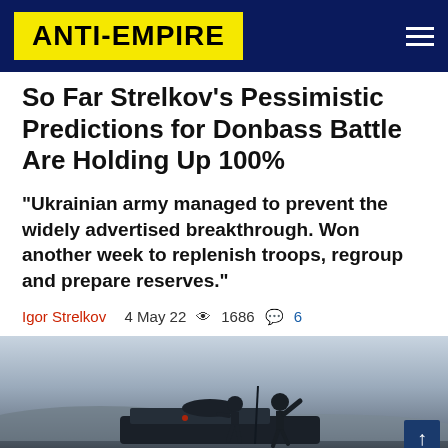Anti-Empire
So Far Strelkov's Pessimistic Predictions for Donbass Battle Are Holding Up 100%
"Ukrainian army managed to prevent the widely advertised breakthrough. Won another week to replenish troops, regroup and prepare reserves."
Igor Strelkov   4 May 22   1686   6
[Figure (photo): Silhouette of soldiers on a military vehicle against a twilight sky]